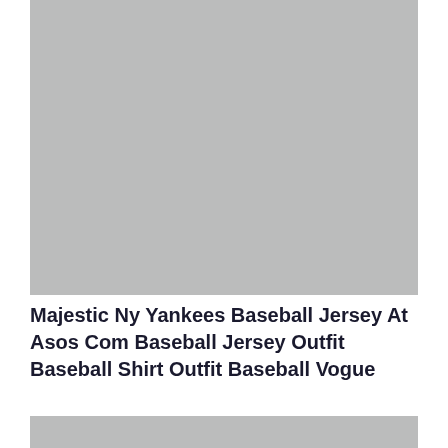[Figure (photo): Gray placeholder image, top portion of page]
Majestic Ny Yankees Baseball Jersey At Asos Com Baseball Jersey Outfit Baseball Shirt Outfit Baseball Vogue
[Figure (photo): Gray placeholder image, bottom portion of page, partially visible]